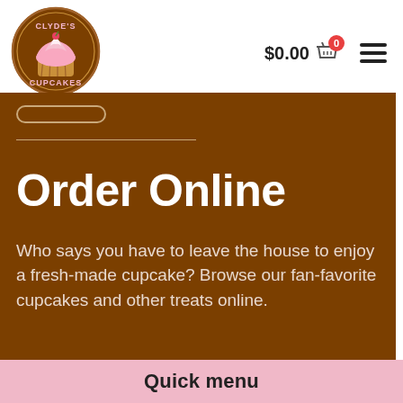[Figure (logo): Clyde's Cupcakes circular logo with a cupcake illustration and brown border]
$0.00 🛒 0
Order Online
Who says you have to leave the house to enjoy a fresh-made cupcake? Browse our fan-favorite cupcakes and other treats online.
Quick menu